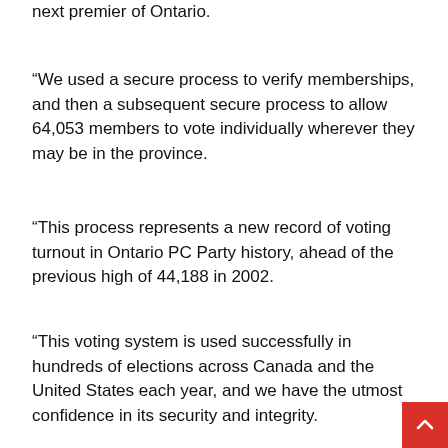next premier of Ontario.
“We used a secure process to verify memberships, and then a subsequent secure process to allow 64,053 members to vote individually wherever they may be in the province.
“This process represents a new record of voting turnout in Ontario PC Party history, ahead of the previous high of 44,188 in 2002.
“This voting system is used successfully in hundreds of elections across Canada and the United States each year, and we have the utmost confidence in its security and integrity.